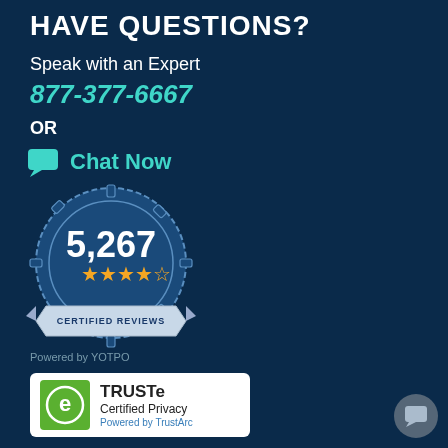HAVE QUESTIONS?
Speak with an Expert
877-377-6667
OR
Chat Now
[Figure (other): Badge showing 5,267 certified reviews with 4.5 gold stars, circular badge design with ribbon saying CERTIFIED REVIEWS, Powered by YOTPO]
[Figure (logo): TRUSTe Certified Privacy badge with green logo, Powered by TrustArc]
CONNECT WITH US
Follow us on social